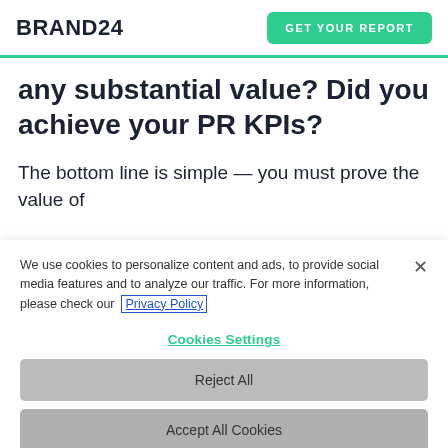BRAND24  GET YOUR REPORT
any substantial value? Did you achieve your PR KPIs?
The bottom line is simple — you must prove the value of
We use cookies to personalize content and ads, to provide social media features and to analyze our traffic. For more information, please check our Privacy Policy
Cookies Settings
Reject All
Accept All Cookies